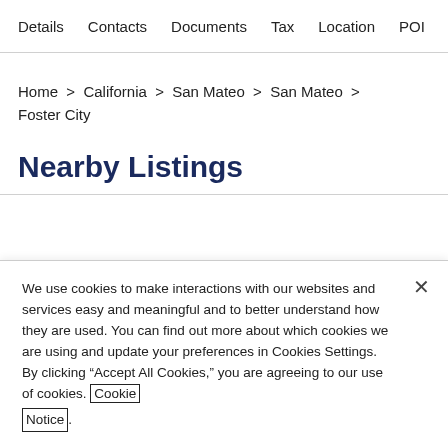Details   Contacts   Documents   Tax   Location   POI
Home > California > San Mateo > San Mateo > Foster City
Nearby Listings
We use cookies to make interactions with our websites and services easy and meaningful and to better understand how they are used. You can find out more about which cookies we are using and update your preferences in Cookies Settings. By clicking “Accept All Cookies,” you are agreeing to our use of cookies. Cookie Notice
Cookies Settings   Accept All Cookies